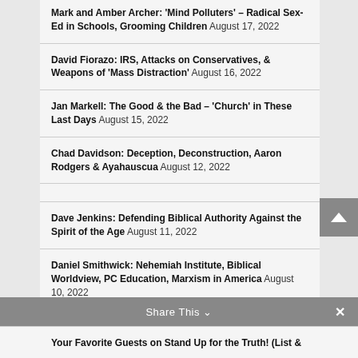Mark and Amber Archer: 'Mind Polluters' – Radical Sex-Ed in Schools, Grooming Children August 17, 2022
David Fiorazo: IRS, Attacks on Conservatives, & Weapons of 'Mass Distraction' August 16, 2022
Jan Markell: The Good & the Bad – 'Church' in These Last Days August 15, 2022
Chad Davidson: Deception, Deconstruction, Aaron Rodgers & Ayahauscua August 12, 2022
Dave Jenkins: Defending Biblical Authority Against the Spirit of the Age August 11, 2022
Daniel Smithwick: Nehemiah Institute, Biblical Worldview, PC Education, Marxism in America August 10, 2022
Your Favorite Guests on Stand Up for the Truth! (List &